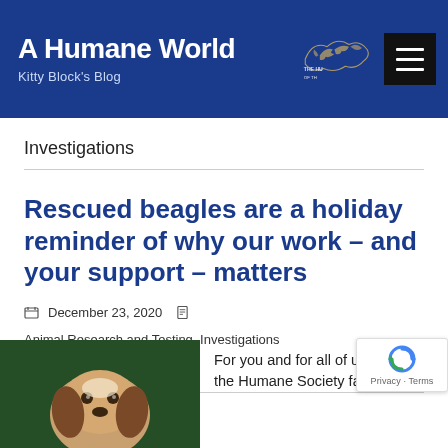A Humane World – Kitty Block's Blog
Investigations
Rescued beagles are a holiday reminder of why our work – and your support – matters
December 23, 2020  Animal Research and Testing, Investigations  2 Comments
[Figure (photo): Photo of a beagle dog against a green background]
For you and for all of us in the Humane Society family